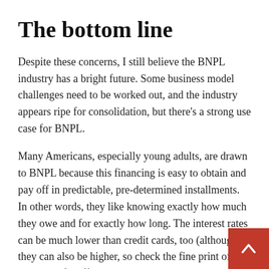The bottom line
Despite these concerns, I still believe the BNPL industry has a bright future. Some business model challenges need to be worked out, and the industry appears ripe for consolidation, but there’s a strong use case for BNPL.
Many Americans, especially young adults, are drawn to BNPL because this financing is easy to obtain and pay off in predictable, pre-determined installments. In other words, they like knowing exactly how much they owe and for exactly how long. The interest rates can be much lower than credit cards, too (although they can also be higher, so check the fine print of your specific offer).
What I find most appealing is the fact that BNPL